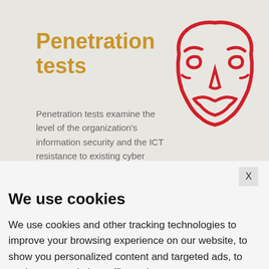Penetration tests
[Figure (illustration): Red stylized Anonymous/Guy Fawkes mask outline illustration]
Penetration tests examine the level of the organization's information security and the ICT resistance to existing cyber
X
We use cookies
We use cookies and other tracking technologies to improve your browsing experience on our website, to show you personalized content and targeted ads, to analyze our website traffic, and